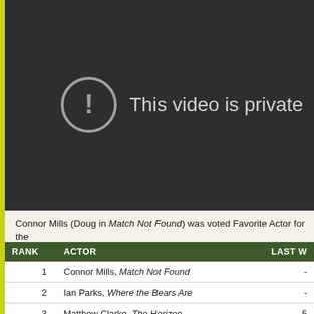[Figure (screenshot): Dark video player area showing 'This video is private' message with a circle-exclamation icon in grey on a dark background.]
Connor Mills (Doug in Match Not Found) was voted Favorite Actor for the
| RANK | ACTOR | LAST W |
| --- | --- | --- |
| 1 | Connor Mills, Match Not Found | - |
| 2 | Ian Parks, Where the Bears Are | - |
| 3 | Matthew Clarke, The Horizon | 5 |
| 4 | Richard Pennem..., ... |  |